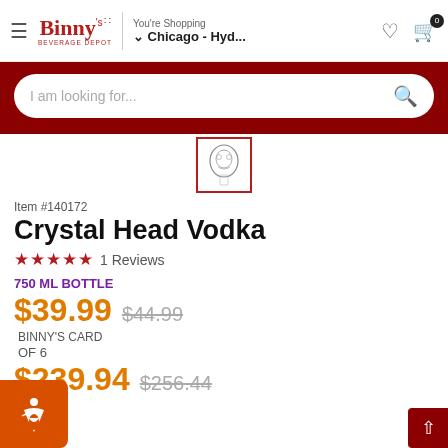Binny's Beverage Depot — You're Shopping Chicago - Hyd...
I am looking for...
[Figure (photo): Crystal Head Vodka skull bottle thumbnail with red border]
Item #140172
Crystal Head Vodka
★★★★★ 1 Reviews
750 ML BOTTLE
$39.99  $44.99
BINNY'S CARD
OF 6
$239.94  $256.44